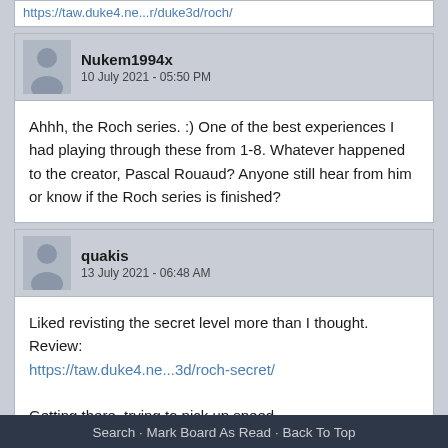https://taw.duke4.ne...r/duke3d/roch/
Nukem1994x
10 July 2021 - 05:50 PM
Ahhh, the Roch series. :) One of the best experiences I had playing through these from 1-8. Whatever happened to the creator, Pascal Rouaud? Anyone still hear from him or know if the Roch series is finished?
quakis
13 July 2021 - 06:48 AM
Liked revisting the secret level more than I thought. Review:
https://taw.duke4.ne...3d/roch-secret/

Getting there, trying to pick up speed.
Search · Mark Board As Read · Back To Top